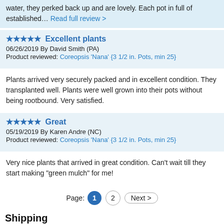water, they perked back up and are lovely. Each pot in full of established… Read full review >
★★★★★ Excellent plants
06/26/2019 By David Smith (PA)
Product reviewed: Coreopsis 'Nana' {3 1/2 in. Pots, min 25}
Plants arrived very securely packed and in excellent condition. They transplanted well. Plants were well grown into their pots without being rootbound. Very satisfied.
★★★★★ Great
05/19/2019 By Karen Andre (NC)
Product reviewed: Coreopsis 'Nana' {3 1/2 in. Pots, min 25}
Very nice plants that arrived in great condition. Can't wait till they start making "green mulch" for me!
Page: 1 2 Next >
Shipping
No unusual shipping concerns for this plant.